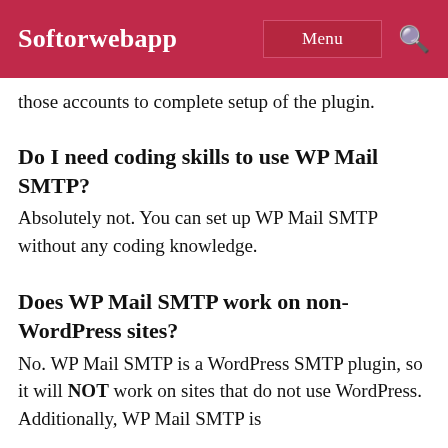Softorwebapp
those accounts to complete setup of the plugin.
Do I need coding skills to use WP Mail SMTP?
Absolutely not. You can set up WP Mail SMTP without any coding knowledge.
Does WP Mail SMTP work on non-WordPress sites?
No. WP Mail SMTP is a WordPress SMTP plugin, so it will NOT work on sites that do not use WordPress. Additionally, WP Mail SMTP is